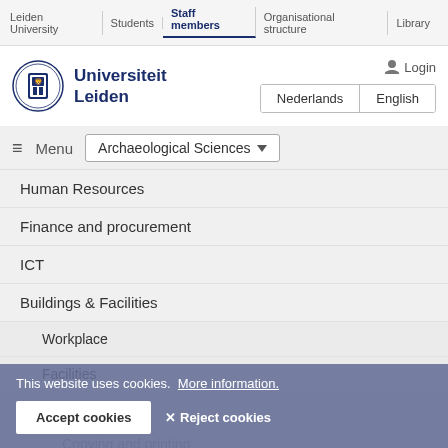Leiden University | Students | Staff members | Organisational structure | Library
[Figure (logo): Leiden University circular seal/crest logo in blue]
Universiteit Leiden
Login
Nederlands | English
Menu  Archaeological Sciences
Human Resources
Finance and procurement
ICT
Buildings & Facilities
Workplace
Facilities
Parking
Copying and printing
This website uses cookies.  More information.
Accept cookies   ✕ Reject cookies